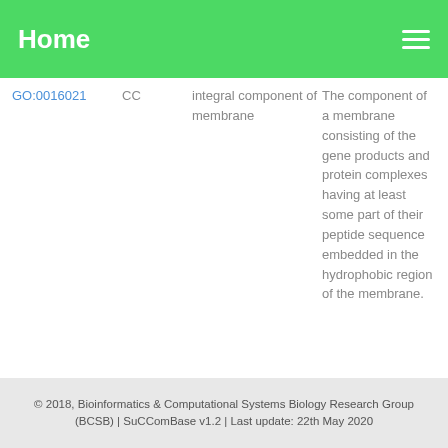Home
| GO ID | Type | Name | Description |
| --- | --- | --- | --- |
| GO:0016021 | CC | integral component of membrane | The component of a membrane consisting of the gene products and protein complexes having at least some part of their peptide sequence embedded in the hydrophobic region of the membrane. |
© 2018, Bioinformatics & Computational Systems Biology Research Group (BCSB) | SuCComBase v1.2 | Last update: 22th May 2020